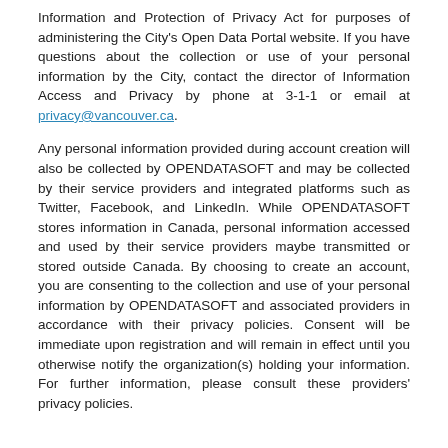Information and Protection of Privacy Act for purposes of administering the City's Open Data Portal website. If you have questions about the collection or use of your personal information by the City, contact the director of Information Access and Privacy by phone at 3-1-1 or email at privacy@vancouver.ca.
Any personal information provided during account creation will also be collected by OPENDATASOFT and may be collected by their service providers and integrated platforms such as Twitter, Facebook, and LinkedIn. While OPENDATASOFT stores information in Canada, personal information accessed and used by their service providers maybe transmitted or stored outside Canada. By choosing to create an account, you are consenting to the collection and use of your personal information by OPENDATASOFT and associated providers in accordance with their privacy policies. Consent will be immediate upon registration and will remain in effect until you otherwise notify the organization(s) holding your information. For further information, please consult these providers' privacy policies.